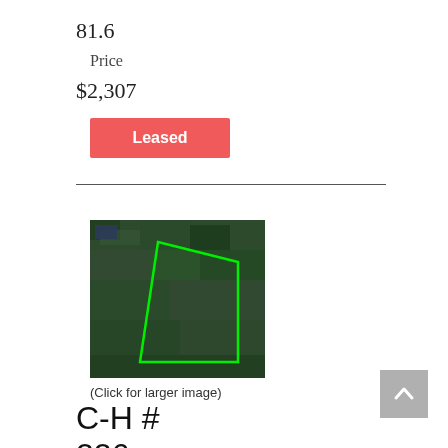81.6
Price
$2,307
Leased
[Figure (map): Aerial/satellite map image showing a land parcel outlined in green lines on a dark green vegetated background.]
(Click for larger image)
C-H # 226